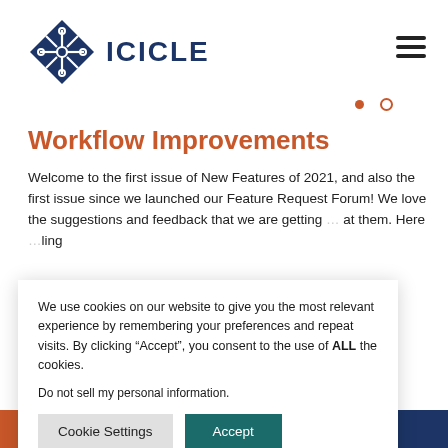[Figure (logo): ICICLE logo: dark blue diamond shape with a snowflake/network icon inside, next to the text 'ICICLE' in dark blue bold capital letters]
Workflow Improvements
Welcome to the first issue of New Features of 2021, and also the first issue since we launched our Feature Request Forum! We love the suggestions and feedback that we are getting ... at them. Here ...ling
We use cookies on our website to give you the most relevant experience by remembering your preferences and repeat visits. By clicking “Accept”, you consent to the use of ALL the cookies.
Do not sell my personal information.